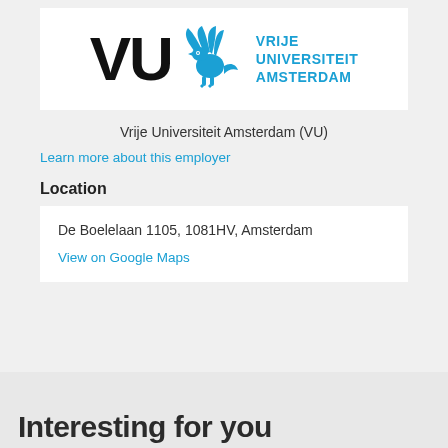[Figure (logo): VU Vrije Universiteit Amsterdam logo with griffin symbol in blue]
Vrije Universiteit Amsterdam (VU)
Learn more about this employer
Location
De Boelelaan 1105, 1081HV, Amsterdam
View on Google Maps
Interesting for you